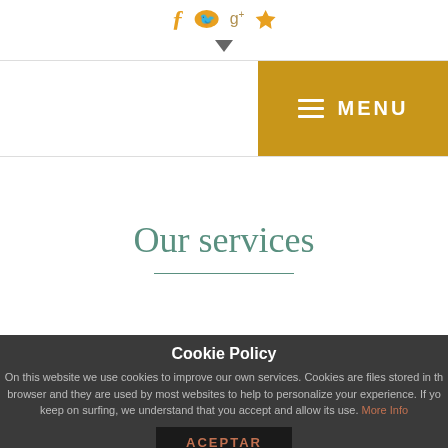[Figure (illustration): Social media icons (Facebook, Twitter, Google+, Pinterest) in yellow/gold color at top of page, with a dropdown arrow below]
≡ MENU
Our services
Cookie Policy
On this website we use cookies to improve our own services. Cookies are files stored in the browser and they are used by most websites to help to personalize your experience. If you keep on surfing, we understand that you accept and allow its use. More Info
ACEPTAR